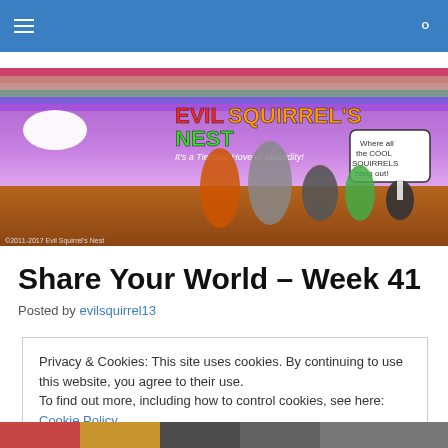Navigation bar with hamburger menu and search icon
[Figure (illustration): Evil Squirrel's Nest blog banner illustration: colorful cartoon characters including unicorns, furry animal characters, squirrels, and a real cat on a purple and brown landscape with rainbow text 'EVIL SQUIRREL'S NEST – It's a Tiercute Hove of absurdity!' and speech bubble 'Where all the COOL SQUIRRELS hang out!']
Share Your World – Week 41
Posted by evilsquirrel13
Privacy & Cookies: This site uses cookies. By continuing to use this website, you agree to their use.
To find out more, including how to control cookies, see here: Cookie Policy
Close and accept
[Figure (illustration): Bottom strip showing partial cartoon illustration]